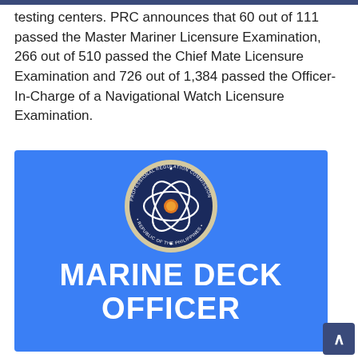testing centers. PRC announces that 60 out of 111 passed the Master Mariner Licensure Examination, 266 out of 510 passed the Chief Mate Licensure Examination and 726 out of 1,384 passed the Officer-In-Charge of a Navigational Watch Licensure Examination.
[Figure (logo): Blue banner image with the seal of the Professional Regulation Commission of the Republic of the Philippines centered at the top, and the text 'MARINE DECK OFFICER' in large bold white capital letters below.]